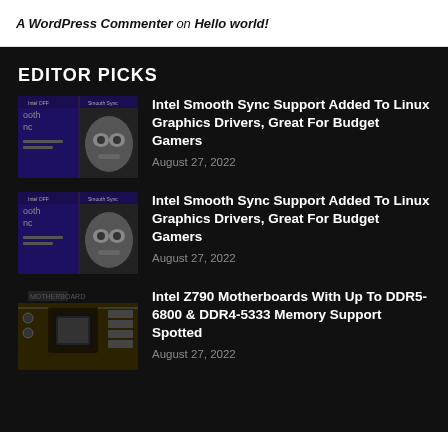A WordPress Commenter on Hello world!
EDITOR PICKS
[Figure (screenshot): Thumbnail for Intel Smooth Sync article – dark gaming screenshot with purple UI overlay]
Intel Smooth Sync Support Added To Linux Graphics Drivers, Great For Budget Gamers
August 27, 2022
[Figure (screenshot): Thumbnail for Intel Smooth Sync article – dark gaming screenshot with purple UI overlay (duplicate)]
Intel Smooth Sync Support Added To Linux Graphics Drivers, Great For Budget Gamers
August 27, 2022
[Figure (photo): Thumbnail of Intel Z790 motherboard PCB close-up]
Intel Z790 Motherboards With Up To DDR5-6800 & DDR4-5333 Memory Support Spotted
August 27, 2022